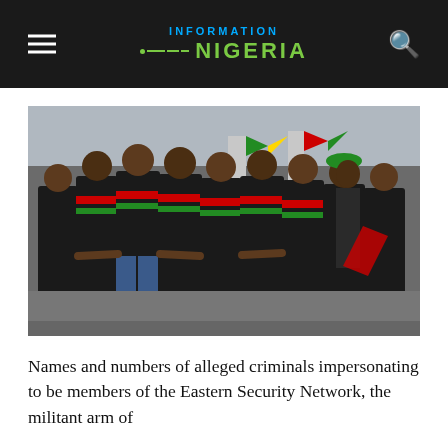INFORMATION NIGERIA
[Figure (photo): A crowd of young men in matching black jerseys with red and green stripes marching together, holding hands, with flags visible in the background on what appears to be a bridge or road. The image depicts a protest or march associated with the Eastern Security Network (ESN).]
Names and numbers of alleged criminals impersonating to be members of the Eastern Security Network, the militant arm of